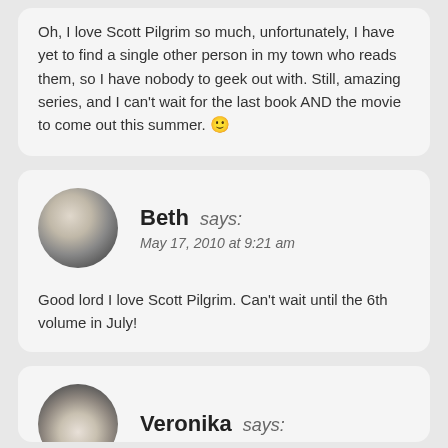Oh, I love Scott Pilgrim so much, unfortunately, I have yet to find a single other person in my town who reads them, so I have nobody to geek out with. Still, amazing series, and I can't wait for the last book AND the movie to come out this summer. 🙂
Beth says:
May 17, 2010 at 9:21 am
Good lord I love Scott Pilgrim. Can't wait until the 6th volume in July!
Veronika says: